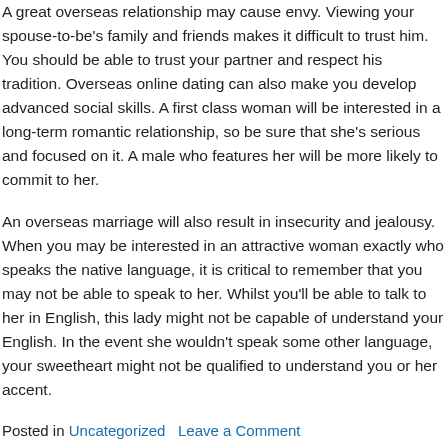A great overseas relationship may cause envy. Viewing your spouse-to-be's family and friends makes it difficult to trust him. You should be able to trust your partner and respect his tradition. Overseas online dating can also make you develop advanced social skills. A first class woman will be interested in a long-term romantic relationship, so be sure that she's serious and focused on it. A male who features her will be more likely to commit to her.
An overseas marriage will also result in insecurity and jealousy. When you may be interested in an attractive woman exactly who speaks the native language, it is critical to remember that you may not be able to speak to her. Whilst you'll be able to talk to her in English, this lady might not be capable of understand your English. In the event she wouldn't speak some other language, your sweetheart might not be qualified to understand you or her accent.
Posted in Uncategorized   Leave a Comment
Internet dating Tips For Guys –